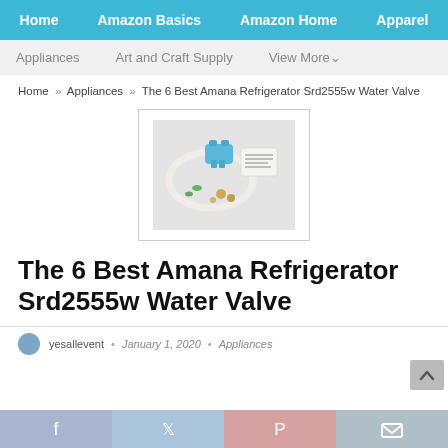Home | Amazon Basics | Amazon Home | Apparel
Appliances | Art and Craft Supply | View More
Home » Appliances » The 6 Best Amana Refrigerator Srd2555w Water Valve
[Figure (photo): Photo of Amana refrigerator water valve parts including a blue valve, tubing, connectors, and instruction sheet on a white background]
The 6 Best Amana Refrigerator Srd2555w Water Valve
yesallevent • January 1, 2020 • Appliances